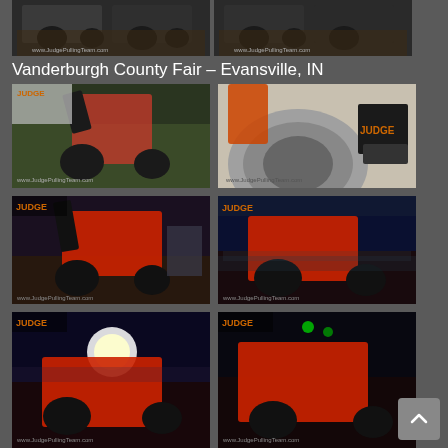[Figure (photo): Two photos of tractor pull vehicles at an event, top row]
Vanderburgh County Fair – Evansville, IN
[Figure (photo): Photo of tractor pull vehicle during daytime event, left]
[Figure (photo): Close-up photo of tractor pull vehicle wheel/tire, right]
[Figure (photo): Tractor pull vehicle at night event, left]
[Figure (photo): Tractor pull vehicle at night event with crowd, right]
[Figure (photo): Tractor pull vehicle at night event with bright lights, left]
[Figure (photo): Tractor pull vehicle at night event, right]